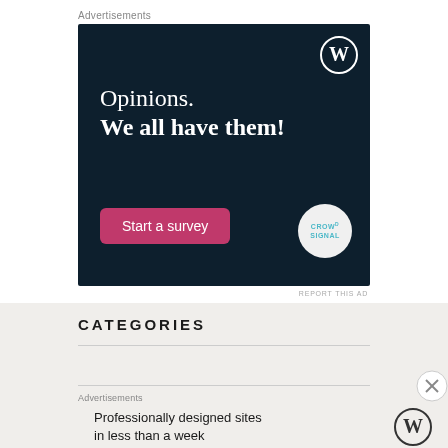Advertisements
[Figure (illustration): Dark navy blue advertisement banner for WordPress/Crowdsignal. Contains WordPress logo (W in circle) top right, text 'Opinions. We all have them!' in white serif font, a pink 'Start a survey' button, and Crowdsignal circular logo bottom right.]
REPORT THIS AD
CATEGORIES
Advertisements
[Figure (illustration): Light beige advertisement for WordPress. Text: 'Professionally designed sites in less than a week' with WordPress W logo on the right.]
REPORT THIS AD